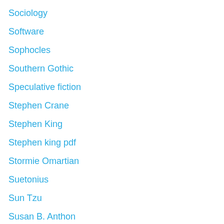Sociology
Software
Sophocles
Southern Gothic
Speculative fiction
Stephen Crane
Stephen King
Stephen king pdf
Stormie Omartian
Suetonius
Sun Tzu
Susan B. Anthon
Suzanne Collins